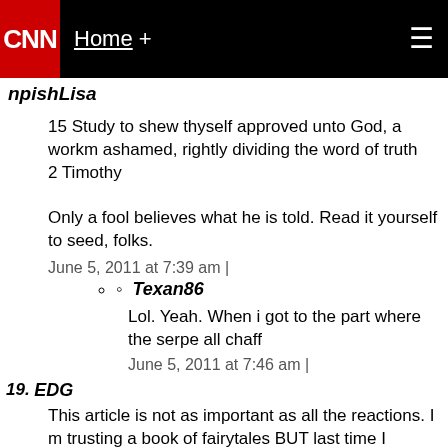CNN – Home +
npishLisa
15 Study to shew thyself approved unto God, a workm ashamed, rightly dividing the word of truth
2 Timothy
Only a fool believes what he is told. Read it yourself to seed, folks.
June 5, 2011 at 7:39 am |
Texan86
Lol. Yeah. When i got to the part where the serpe all chaff
June 5, 2011 at 7:46 am |
19. EDG
This article is not as important as all the reactions. I m trusting a book of fairytales BUT last time I checked it it been't cost me anythina to believe and I haven't hurt